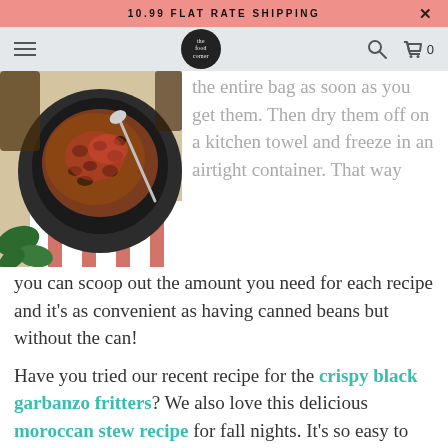10.99 FLAT RATE SHIPPING
[Figure (screenshot): Website navigation bar with hamburger menu, The Food Corner logo circle, search icon, and cart icon with 0 items]
[Figure (photo): A dark bowl of food (lentil or bean stew) on a striped red and white napkin with green leafy vegetables on the side and a spoon in the bowl]
the entire bag as soon as you get them. Then dry them off on a kitchen towel and freeze in an airtight container. That way you can scoop out the amount you need for each recipe and it's as convenient as having canned beans but without the can!
Have you tried our recent recipe for the crispy black garbanzo fritters? We also love this delicious moroccan stew recipe for fall nights. It's so easy to throw together and freezes well.  you can also have a lot of fun for halloween with our hummus